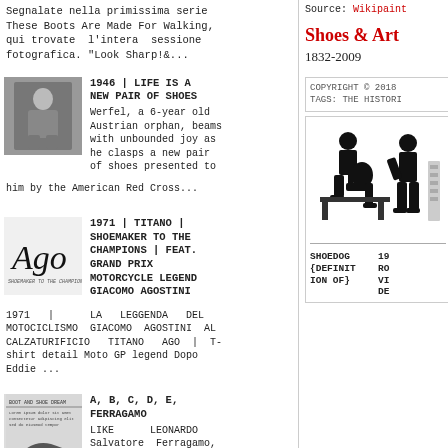Segnalate nella primissima serie These Boots Are Made For Walking, qui trovate l'intera sessione fotografica. "Look Sharp!&...
[Figure (photo): Black and white photo of a young child sitting on steps]
1946 | LIFE IS A NEW PAIR OF SHOES
Werfel, a 6-year old Austrian orphan, beams with unbounded joy as he clasps a new pair of shoes presented to him by the American Red Cross...
[Figure (photo): Logo/text image for Ago shoemaker brand]
1971 | TITANO | SHOEMAKER TO THE CHAMPIONS | FEAT. GRAND PRIX MOTORCYCLE LEGEND GIACOMO AGOSTINI
1971 | LA LEGGENDA DEL MOTOCICLISMO GIACOMO AGOSTINI AL CALZATURIFICIO TITANO AGO | T-shirt detail Moto GP legend Dopo Eddie ...
[Figure (photo): Magazine page about boots and shoes]
A, B, C, D, E, FERRAGAMO
LIKE LEONARDO Salvatore Ferragamo, who always define
Source: Wikipaint
Shoes & Art
1832-2009
COPYRIGHT © 2018
TAGS: THE HISTORI
[Figure (illustration): Silhouette illustration of two people, one seated playing guitar, another standing]
SHOEDOG {DEFINIT ION OF}
19 RO VI DE